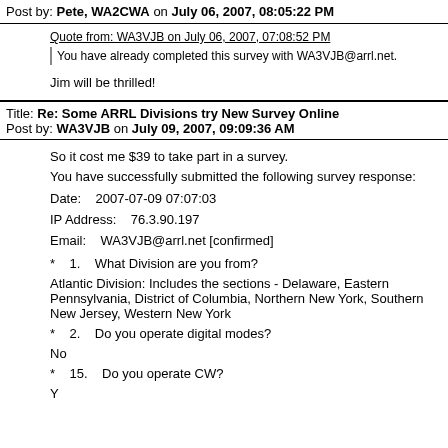Post by: Pete, WA2CWA on July 06, 2007, 08:05:22 PM
Quote from: WA3VJB on July 06, 2007, 07:08:52 PM
You have already completed this survey with WA3VJB@arrl.net.
Jim will be thrilled!
Title: Re: Some ARRL Divisions try New Survey Online
Post by: WA3VJB on July 09, 2007, 09:09:36 AM
So it cost me $39 to take part in a survey.
You have successfully submitted the following survey response:
Date:    2007-07-09 07:07:03
IP Address:    76.3.90.197
Email:    WA3VJB@arrl.net [confirmed]
*    1.    What Division are you from?
Atlantic Division: Includes the sections - Delaware, Eastern Pennsylvania, District of Columbia, Northern New York, Southern New Jersey, Western New York
*    2.    Do you operate digital modes?
No
*    15.    Do you operate CW?
Y...